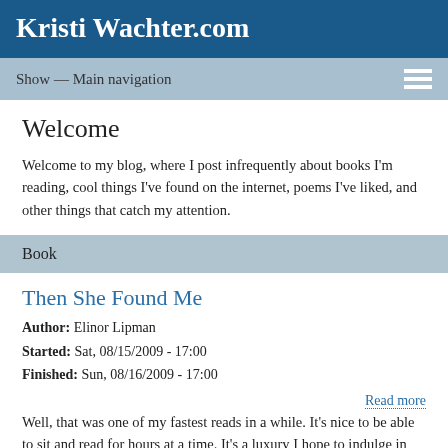Kristi Wachter.com
Show — Main navigation
Welcome
Welcome to my blog, where I post infrequently about books I'm reading, cool things I've found on the internet, poems I've liked, and other things that catch my attention.
Book
Then She Found Me
Author: Elinor Lipman
Started: Sat, 08/15/2009 - 17:00
Finished: Sun, 08/16/2009 - 17:00
Read more
Well, that was one of my fastest reads in a while. It's nice to be able to sit and read for hours at a time. It's a luxury I hope to indulge in more often.